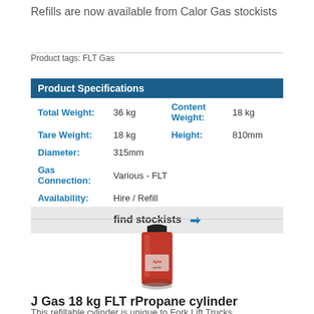Refills are now available from Calor Gas stockists
Product tags: FLT Gas
| Product Specifications |  |  |  |
| --- | --- | --- | --- |
| Total Weight: | 36 kg | Content Weight: | 18 kg |
| Tare Weight: | 18 kg | Height: | 810mm |
| Diameter: | 315mm |  |  |
| Gas Connection: | Various - FLT |  |  |
| Availability: | Hire / Refill |  |  |
|  | find stockists ➡ |  |  |
[Figure (photo): Red J Gas 18 kg FLT propane cylinder with black top valve]
J Gas 18 kg FLT rPropane cylinder
This refillable cylinder is unique to Fork Lift Trucks